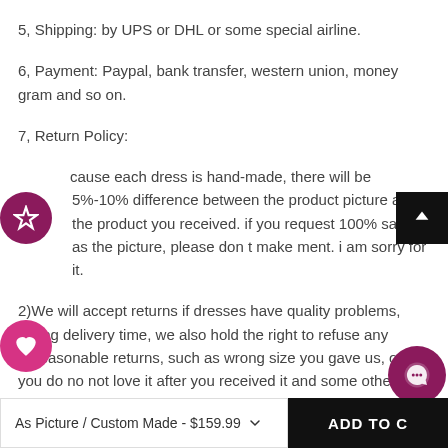5, Shipping: by UPS or DHL or some special airline.
6, Payment: Paypal, bank transfer, western union, money gram and so on.
7, Return Policy:
cause each dress is hand-made, there will be 5%-10% difference between the product picture and the product you received. if you request 100% same as the picture, please don t make ment. i am sorry for it.
2)We will accept returns if dresses have quality problems, wrong delivery time, we also hold the right to refuse any unreasonable returns, such as wrong size you gave us, or you do no not love it after you received it and some other reasons for it. We r...
As Picture / Custom Made - $159.99
ADD TO C